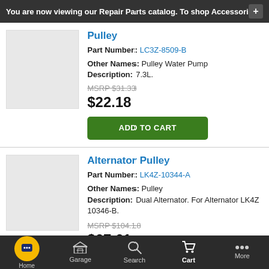You are now viewing our Repair Parts catalog. To shop Accessori
Pulley
Part Number: LC3Z-8509-B
Other Names: Pulley Water Pump
Description: 7.3L.
MSRP $31.33
$22.18
ADD TO CART
Alternator Pulley
Part Number: LK4Z-10344-A
Other Names: Pulley
Description: Dual Alternator. For Alternator LK4Z 10346-B.
MSRP $104.18
$67.61
Home  Garage  Search  Cart  More